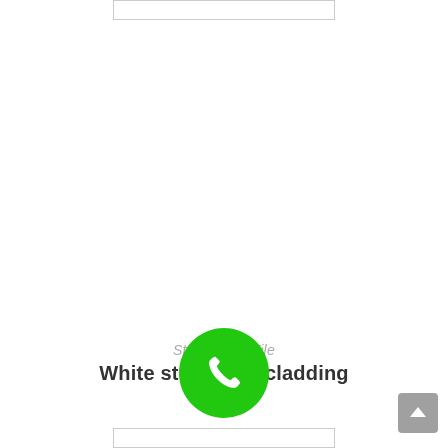[Figure (other): Top partial image box placeholder at top center]
StoneGrete Tile
White stone wall cladding
[Figure (other): Green circular phone/call button overlaid on center]
[Figure (other): Bottom partial image box placeholder at bottom center]
[Figure (other): Scroll to top button at bottom right]